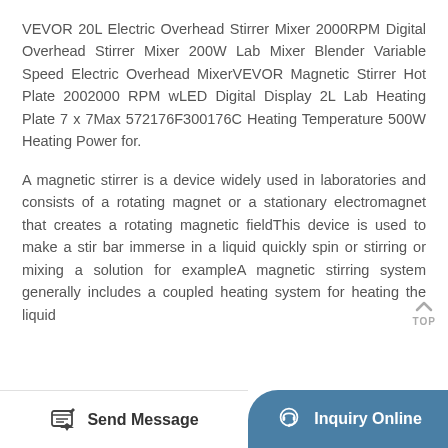VEVOR 20L Electric Overhead Stirrer Mixer 2000RPM Digital Overhead Stirrer Mixer 200W Lab Mixer Blender Variable Speed Electric Overhead MixerVEVOR Magnetic Stirrer Hot Plate 2002000 RPM wLED Digital Display 2L Lab Heating Plate 7 x 7Max 572176F300176C Heating Temperature 500W Heating Power for.
A magnetic stirrer is a device widely used in laboratories and consists of a rotating magnet or a stationary electromagnet that creates a rotating magnetic fieldThis device is used to make a stir bar immerse in a liquid quickly spin or stirring or mixing a solution for exampleA magnetic stirring system generally includes a coupled heating system for heating the liquid
Send Message   Inquiry Online